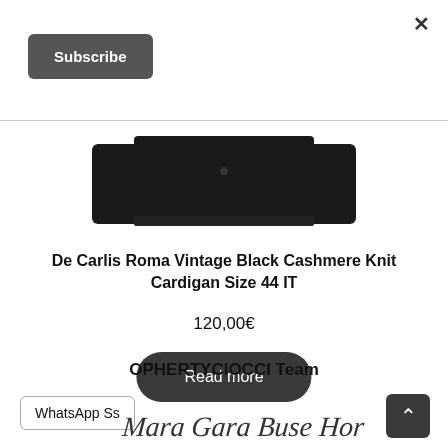×
Subscribe
[Figure (photo): Partial view of a black cashmere knit cardigan on a white background, showing the lower portion of the garment.]
De Carlis Roma Vintage Black Cashmere Knit Cardigan Size 44 IT
120,00€
Read more
OPHERTYCIOCCI Team
WhatsApp Ss
[Figure (illustration): Handwritten signature text partially visible at the bottom of the page.]